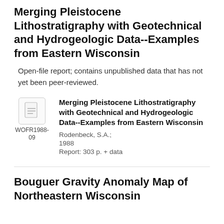Merging Pleistocene Lithostratigraphy with Geotechnical and Hydrogeologic Data--Examples from Eastern Wisconsin
Open-file report; contains unpublished data that has not yet been peer-reviewed.
[Figure (illustration): Document icon thumbnail for the report]
WOFR1988-09
Merging Pleistocene Lithostratigraphy with Geotechnical and Hydrogeologic Data--Examples from Eastern Wisconsin
Rodenbeck, S.A.;
1988
Report: 303 p. + data
Bouguer Gravity Anomaly Map of Northeastern Wisconsin